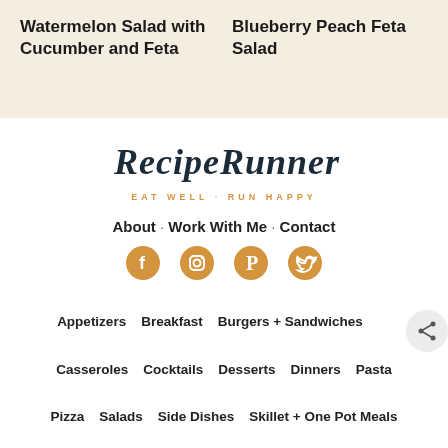Watermelon Salad with Cucumber and Feta
Blueberry Peach Feta Salad
[Figure (logo): RecipeRunner logo with handwritten brush script text 'RECIPERUNNER' in dark navy, tagline 'EAT WELL · RUN HAPPY' in golden/amber color below]
About · Work With Me · Contact
[Figure (infographic): Social media icons for Facebook, Instagram, Pinterest, and Twitter in golden circular buttons]
Appetizers   Breakfast   Burgers + Sandwiches
Casseroles   Cocktails   Desserts   Dinners   Pasta
Pizza   Salads   Side Dishes   Skillet + One Pot Meals